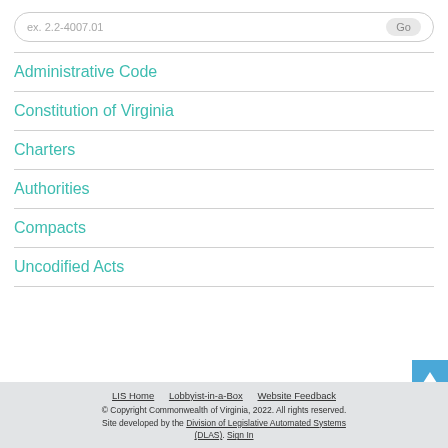ex. 2.2-4007.01
Administrative Code
Constitution of Virginia
Charters
Authorities
Compacts
Uncodified Acts
LIS Home  Lobbyist-in-a-Box  Website Feedback
© Copyright Commonwealth of Virginia, 2022. All rights reserved.
Site developed by the Division of Legislative Automated Systems (DLAS). Sign In